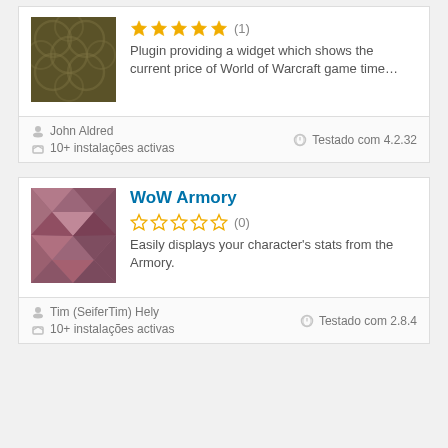[Figure (illustration): Dark olive/brown patterned thumbnail with overlapping circles for first plugin]
★★★★★ (1)
Plugin providing a widget which shows the current price of World of Warcraft game time…
John Aldred
10+ instalações activas
Testado com 4.2.32
WoW Armory
[Figure (illustration): Mauve/pink geometric diamond pattern thumbnail for WoW Armory plugin]
☆☆☆☆☆ (0)
Easily displays your character's stats from the Armory.
Tim (SeiferTim) Hely
10+ instalações activas
Testado com 2.8.4